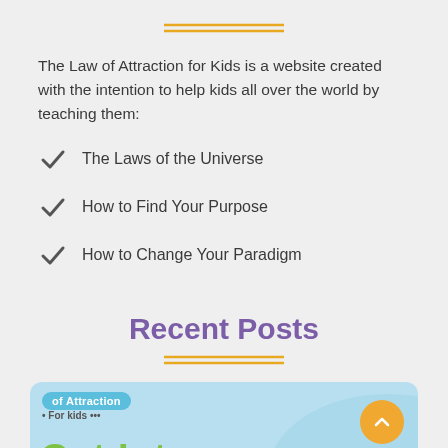[Figure (other): Decorative double horizontal line divider in gold/orange color at top of page]
The Law of Attraction for Kids is a website created with the intention to help kids all over the world by teaching them:
The Laws of the Universe
How to Find Your Purpose
How to Change Your Paradigm
Recent Posts
[Figure (other): Decorative double horizontal line divider in gold/orange color below Recent Posts heading]
[Figure (screenshot): Partial card showing 'Law of Attraction For Kids' logo with colorful 'Get Into' text beginning, with orange scroll-to-top button]